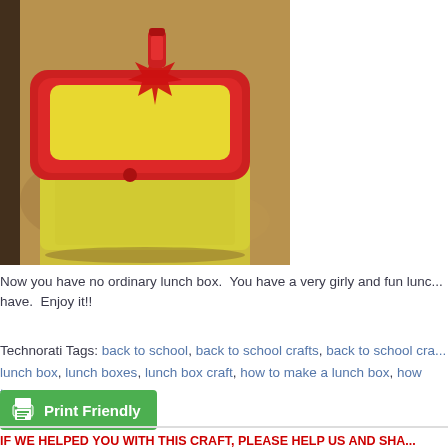[Figure (photo): Photo of a red-rimmed lunch box with yellow fabric/tissue and a red maple leaf decoration on a cork/wood surface]
Now you have no ordinary lunch box.  You have a very girly and fun lunch box to have.  Enjoy it!!
Technorati Tags: back to school, back to school crafts, back to school crafts, lunch box, lunch boxes, lunch box craft, how to make a lunch box, how to...
[Figure (other): Print Friendly button — green button with printer icon and text 'Print Friendly']
IF WE HELPED YOU WITH THIS CRAFT, PLEASE HELP US AND SHA... THE SHARE BUTTONS BELOW! MORE USERS = BETTER SITE!!!